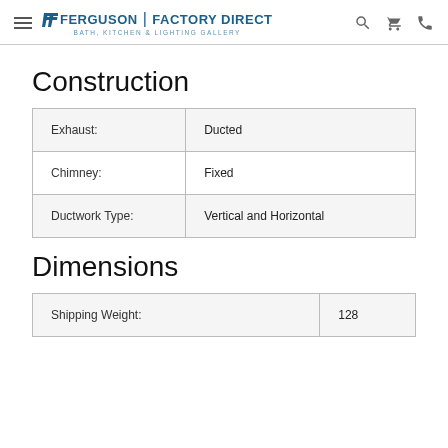Ferguson Factory Direct | Bath, Kitchen & Lighting Gallery
Construction
| Exhaust: | Ducted |
| Chimney: | Fixed |
| Ductwork Type: | Vertical and Horizontal |
Dimensions
| Shipping Weight: | 128 |